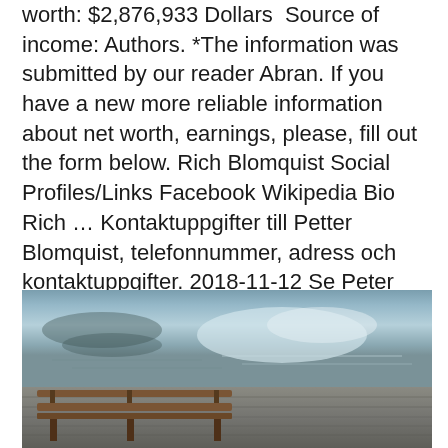worth: $2,876,933 Dollars  Source of income: Authors. *The information was submitted by our reader Abran. If you have a new more reliable information about net worth, earnings, please, fill out the form below. Rich Blomquist Social Profiles/Links Facebook Wikipedia Bio Rich … Kontaktuppgifter till Petter Blomquist, telefonnummer, adress och kontaktuppgifter. 2018-11-12 Se Peter Blomquists yrkesprofil på LinkedIn. Uppsala tra
[Figure (photo): Outdoor photo of a wooden dock/pier with a bench in the foreground and water with light reflections in the background]